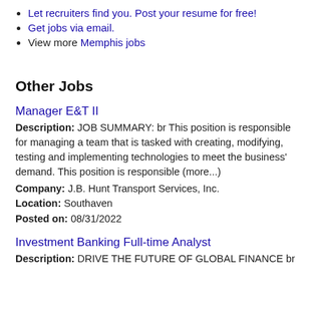Let recruiters find you. Post your resume for free!
Get jobs via email.
View more Memphis jobs
Other Jobs
Manager E&T II
Description: JOB SUMMARY: br This position is responsible for managing a team that is tasked with creating, modifying, testing and implementing technologies to meet the business' demand. This position is responsible (more...)
Company: J.B. Hunt Transport Services, Inc.
Location: Southaven
Posted on: 08/31/2022
Investment Banking Full-time Analyst
Description: DRIVE THE FUTURE OF GLOBAL FINANCE br